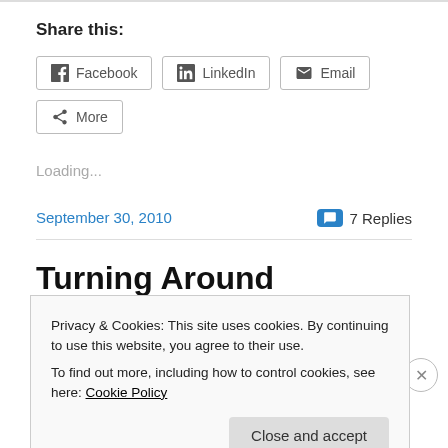Share this:
Facebook | LinkedIn | Email | More
Loading...
September 30, 2010
7 Replies
Turning Around
Privacy & Cookies: This site uses cookies. By continuing to use this website, you agree to their use.
To find out more, including how to control cookies, see here: Cookie Policy
Close and accept